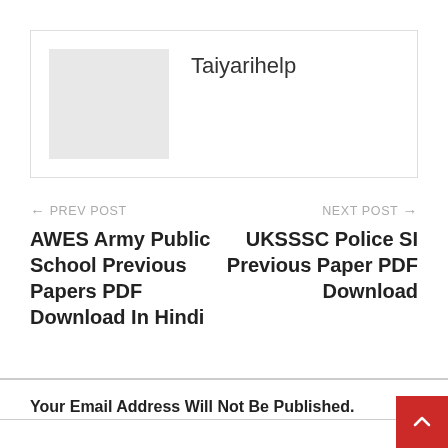[Figure (other): Author profile card with gray placeholder avatar image and author name 'Taiyarihelp']
Taiyarihelp
← PREV POST
AWES Army Public School Previous Papers PDF Download In Hindi
NEXT POST →
UKSSSC Police SI Previous Paper PDF Download
Your Email Address Will Not Be Published.